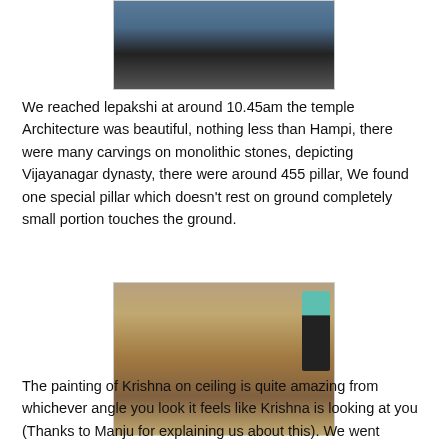[Figure (photo): Top portion of a photo showing parked motorcycles and people at what appears to be a parking area near Lepakshi temple]
We reached lepakshi at around 10.45am the temple Architecture was beautiful, nothing less than Hampi, there were many carvings on monolithic stones, depicting Vijayanagar dynasty, there were around 455 pillar, We found one special pillar which doesn't rest on ground completely small portion touches the ground.
[Figure (photo): Close-up photograph of the base of a stone pillar at Lepakshi temple, showing the gap between the pillar base and the ground, with a person standing next to it wearing teal top and dark pants]
The painting of Krishna on ceiling is quite amazing from whichever angle you look it feels like Krishna is looking at you (Thanks to Manju for explaining us about this). We went